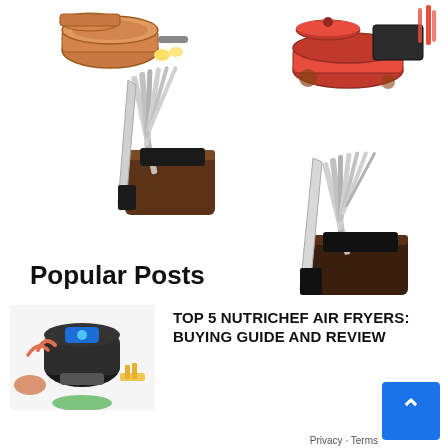[Figure (photo): Copper cookware pots and pans set with lids, top-left area]
[Figure (photo): Red cast iron cookware set with pans, Dutch oven, and utensils, top-right area]
[Figure (photo): Knife block set with wooden block and multiple knives, left-center area]
[Figure (photo): Knife block set with dark wooden block and multiple knives, right-center area]
Popular Posts
[Figure (photo): NutriChef air fryer with food items around it]
TOP 5 NUTRICHEF AIR FRYERS: BUYING GUIDE AND REVIEW